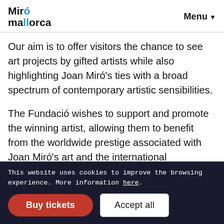Miró mallorca  Menu
Our aim is to offer visitors the chance to see art projects by gifted artists while also highlighting Joan Miró's ties with a broad spectrum of contemporary artistic sensibilities.
The Fundació wishes to support and promote the winning artist, allowing them to benefit from the worldwide prestige associated with Joan Miró's art and the international recognition that this represents.
This website uses cookies to improve the browsing experience. More information here.
Buy tickets
Accept all